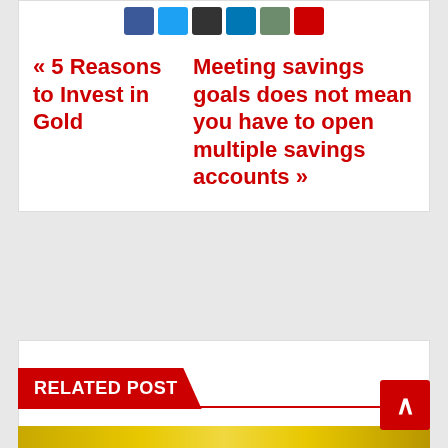[Figure (other): Social share buttons row: Facebook (blue), Twitter (light blue), black button, LinkedIn (dark blue), green button, red button]
« 5 Reasons to Invest in Gold
Meeting savings goals does not mean you have to open multiple savings accounts »
RELATED POST